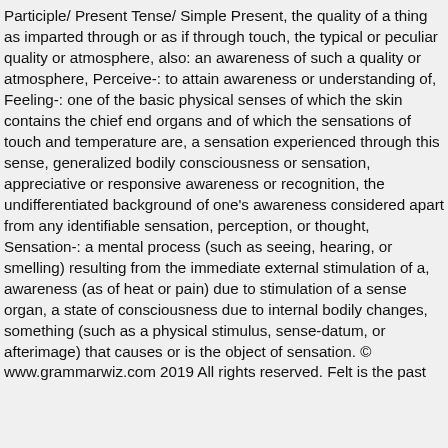Participle/ Present Tense/ Simple Present, the quality of a thing as imparted through or as if through touch, the typical or peculiar quality or atmosphere, also: an awareness of such a quality or atmosphere, Perceive-: to attain awareness or understanding of, Feeling-: one of the basic physical senses of which the skin contains the chief end organs and of which the sensations of touch and temperature are, a sensation experienced through this sense, generalized bodily consciousness or sensation, appreciative or responsive awareness or recognition, the undifferentiated background of one's awareness considered apart from any identifiable sensation, perception, or thought, Sensation-: a mental process (such as seeing, hearing, or smelling) resulting from the immediate external stimulation of a, awareness (as of heat or pain) due to stimulation of a sense organ, a state of consciousness due to internal bodily changes, something (such as a physical stimulus, sense-datum, or afterimage) that causes or is the object of sensation. © www.grammarwiz.com 2019 All rights reserved. Felt is the past